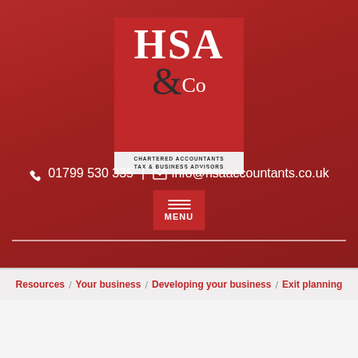[Figure (logo): HSA & Co Chartered Accountants Tax & Business Advisors logo — red square with white HSA text, dark ampersand, Co text, and a light banner with company description]
01799 530 335 | info@hsaaccountants.co.uk
[Figure (other): Red MENU button with three horizontal white lines (hamburger icon) and MENU text below]
Resources / Your business / Developing your business / Exit planning